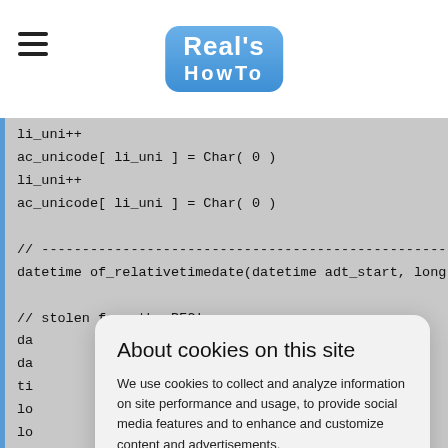Real's HowTo
li_uni++
ac_unicode[ li_uni ] = Char( 0 )
li_uni++
ac_unicode[ li_uni ] = Char( 0 )

// ------------------------------------------------------------------
datetime of_relativetimedate(datetime adt_start, long a

// stolen from the PFC!
da
da
ti
lo
lo

//
lo
lt

//
//Note: 86400 is # of seconds in a day
ll_date_adjust = al_offset /  86400
About cookies on this site
We use cookies to collect and analyze information on site performance and usage, to provide social media features and to enhance and customize content and advertisements.
Got it